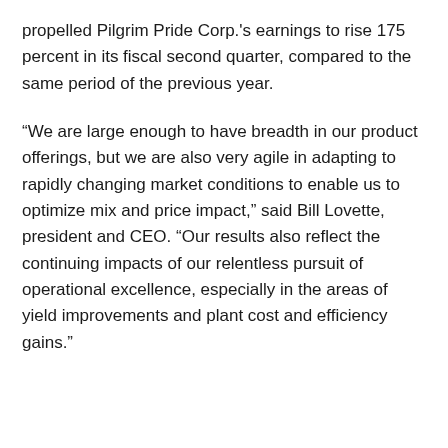propelled Pilgrim Pride Corp.'s earnings to rise 175 percent in its fiscal second quarter, compared to the same period of the previous year.
“We are large enough to have breadth in our product offerings, but we are also very agile in adapting to rapidly changing market conditions to enable us to optimize mix and price impact,” said Bill Lovette, president and CEO. “Our results also reflect the continuing impacts of our relentless pursuit of operational excellence, especially in the areas of yield improvements and plant cost and efficiency gains.”